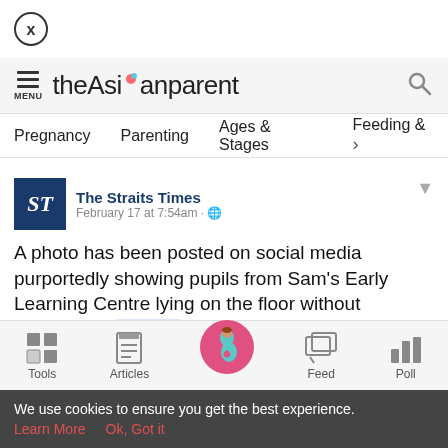[Figure (screenshot): Close/dismiss button — circle with X]
theAsianparent — MENU and search icon navigation bar
Pregnancy  Parenting  Ages & Stages  Feeding &
The Straits Times
February 17 at 7:54am · 🌐
A photo has been posted on social media purportedly showing pupils from Sam's Early Learning Centre lying on the floor without mattresses. #ICYMI
Tools  Articles  [home]  Feed  Poll
We use cookies to ensure you get the best experience. Learn More  Ok, Got it